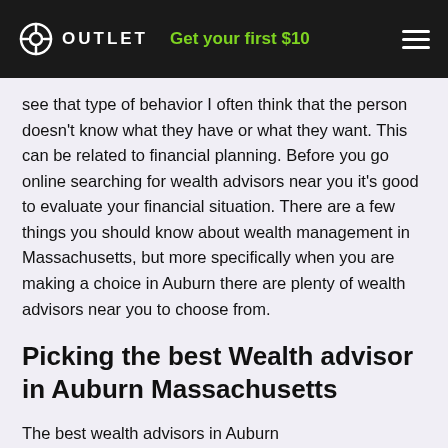OUTLET   Get your first $10
see that type of behavior I often think that the person doesn't know what they have or what they want. This can be related to financial planning. Before you go online searching for wealth advisors near you it's good to evaluate your financial situation. There are a few things you should know about wealth management in Massachusetts, but more specifically when you are making a choice in Auburn there are plenty of wealth advisors near you to choose from.
Picking the best Wealth advisor in Auburn Massachusetts
The best wealth advisors in Auburn